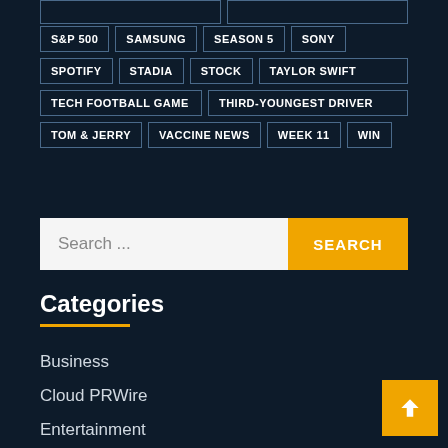S&P 500
SAMSUNG
SEASON 5
SONY
SPOTIFY
STADIA
STOCK
TAYLOR SWIFT
TECH FOOTBALL GAME
THIRD-YOUNGEST DRIVER
TOM & JERRY
VACCINE NEWS
WEEK 11
WIN
Search ...
Categories
Business
Cloud PRWire
Entertainment
Press Release
Sports